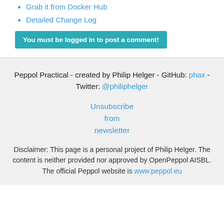Grab it from Docker Hub
Detailed Change Log
You must be logged in to post a comment!
Peppol Practical - created by Philip Helger - GitHub: phax - Twitter: @philiphelger
Unsubscribe from newsletter
Disclaimer: This page is a personal project of Philip Helger. The content is neither provided nor approved by OpenPeppol AISBL. The official Peppol website is www.peppol.eu